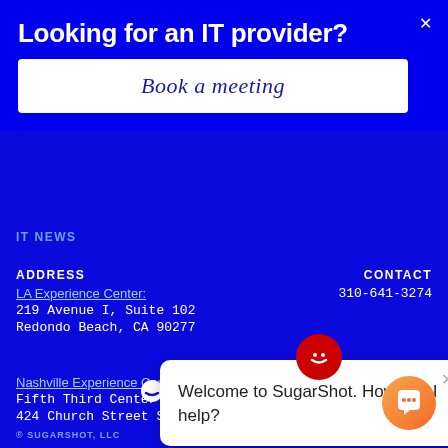Looking for an IT provider?
Book a meeting
IT NEWS
ADDRESS
LA Experience Center:
219 Avenue I, Suite 102
Redondo Beach, CA 90277
CONTACT
310-641-3274
Nashville Experience Center:
Fifth Third Center
424 Church Street Suite 2000
Nashville, TN, 37219
Welcome to SugarShot. How can I help?
[Figure (logo): SugarShot logo with circular icon and text SUGARSHOT]
© SUGARSHOT, LLC   PROUDLY MADE I...